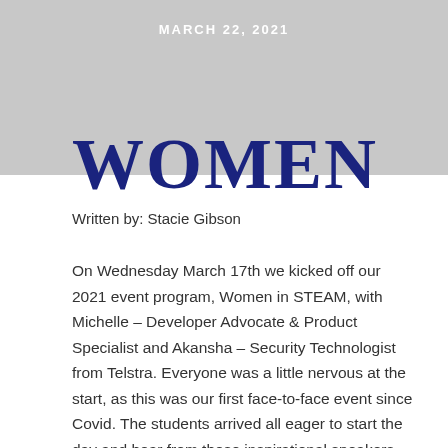MARCH 22, 2021
WOMEN
Written by: Stacie Gibson
On Wednesday March 17th we kicked off our 2021 event program, Women in STEAM, with Michelle – Developer Advocate & Product Specialist and Akansha – Security Technologist from Telstra. Everyone was a little nervous at the start, as this was our first face-to-face event since Covid. The students arrived all eager to start the day and hear from these inspirational speakers.